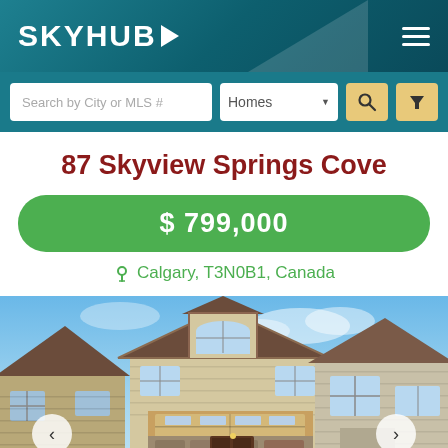SKYHUB
Search by City or MLS # | Homes
87 Skyview Springs Cove
$ 799,000
Calgary, T3N0B1, Canada
[Figure (photo): Exterior photo of a two-storey suburban home with brown/beige siding, stone facade on garage, arched window above garage, blue sky background, snow on ground, neighboring houses visible on left and right.]